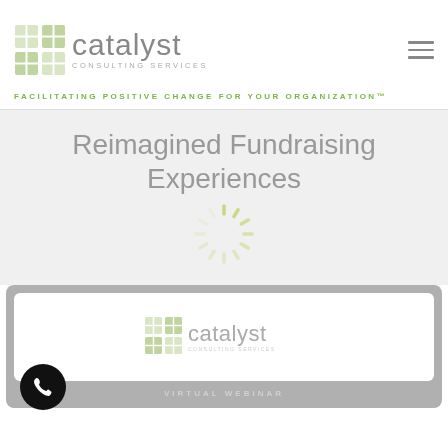[Figure (logo): Catalyst Consulting Services logo with green square grid icon and grey text]
FACILITATING POSITIVE CHANGE FOR YOUR ORGANIZATION™
Reimagined Fundraising Experiences
[Figure (other): Loading spinner graphic in light olive/green color]
[Figure (screenshot): Webinar card preview with Catalyst Consulting Services logo inside a white panel on a grey background, with VIRTUAL WEBINAR label below and a phone call button in the bottom left corner]